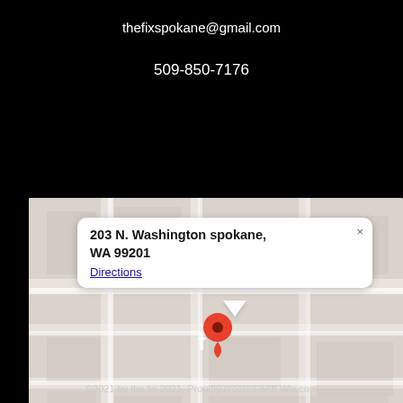thefixspokane@gmail.com
509-850-7176
[Figure (map): Google Maps screenshot showing location at 203 N. Washington spokane, WA 99201 with a red map pin and an info popup with address and Directions link]
[Figure (logo): Facebook icon (letter f) in white on black background]
©2021 by the fix 2021. Proudly created with Wix.com